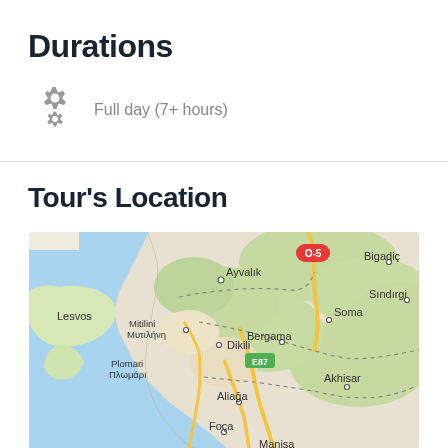Durations
Full day (7+ hours)
Tour's Location
[Figure (map): Google Maps view showing the Aegean coast of Turkey and the Greek island of Lesvos, with locations including Ayvalık, Dikili, Bergama, Soma, Akhisar, Aliağa, Foça, Manisa, Bigadiç, Sındırgı, and the Greek towns Mitilini/Μυτιλήνη and Plomari/Πλωμάρι. Road O-5 and E87 are visible.]